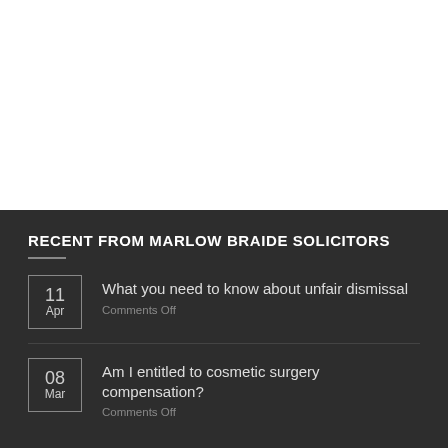[Figure (other): White space / image area at top of page]
RECENT FROM MARLOW BRAIDE SOLICITORS
11 Apr - What you need to know about unfair dismissal - Comments Off
08 Mar - Am I entitled to cosmetic surgery compensation? - Comments Off